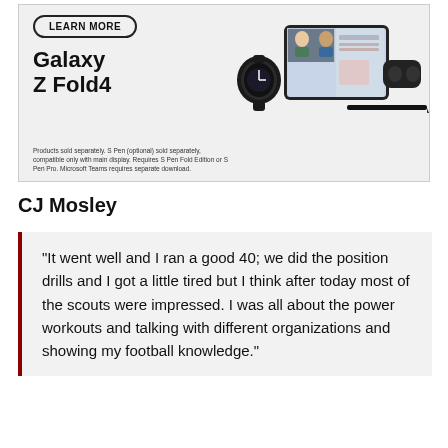[Figure (illustration): Samsung Galaxy Z Fold4 advertisement showing a 'LEARN MORE' button, the text 'Galaxy Z Fold4', a smartwatch, a foldable phone displaying a video call, and earbuds. Fine print reads: 'Products sold separately. S Pen (optional) sold separately, compatible only with main display. Requires S Pen Fold Edition or S Pen Pro. Microsoft Teams requires separate download.']
CJ Mosley
"It went well and I ran a good 40; we did the position drills and I got a little tired but I think after today most of the scouts were impressed. I was all about the power workouts and talking with different organizations and showing my football knowledge."